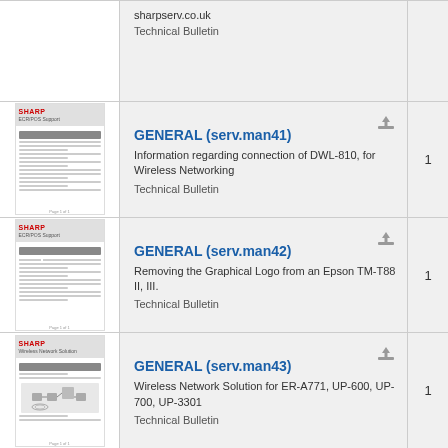sharpserv.co.uk
Technical Bulletin
[Figure (screenshot): Thumbnail of Sharp GENERAL serv.man41 technical bulletin document]
GENERAL (serv.man41)
Information regarding connection of DWL-810, for Wireless Networking
Technical Bulletin
1
[Figure (screenshot): Thumbnail of Sharp GENERAL serv.man42 technical bulletin document]
GENERAL (serv.man42)
Removing the Graphical Logo from an Epson TM-T88 II, III.
Technical Bulletin
1
[Figure (screenshot): Thumbnail of Sharp GENERAL serv.man43 technical bulletin document with wireless network diagram]
GENERAL (serv.man43)
Wireless Network Solution for ER-A771, UP-600, UP-700, UP-3301
Technical Bulletin
1